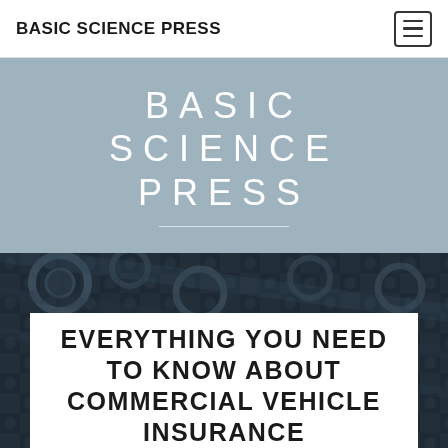BASIC SCIENCE PRESS
BASIC SCIENCE PRESS
[Figure (photo): Dark industrial background showing mechanical gears and metal parts, serving as a banner image behind the article card]
EVERYTHING YOU NEED TO KNOW ABOUT COMMERCIAL VEHICLE INSURANCE